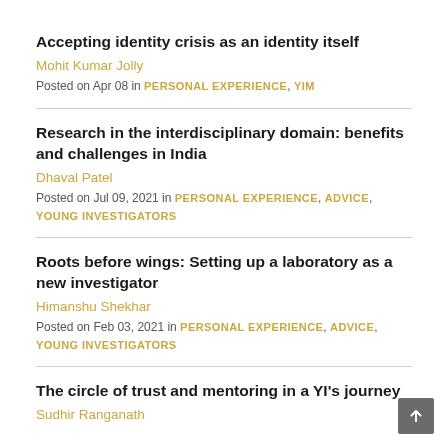Accepting identity crisis as an identity itself
Mohit Kumar Jolly
Posted on Apr 08 in PERSONAL EXPERIENCE, YIM
Research in the interdisciplinary domain: benefits and challenges in India
Dhaval Patel
Posted on Jul 09, 2021 in PERSONAL EXPERIENCE, ADVICE, YOUNG INVESTIGATORS
Roots before wings: Setting up a laboratory as a new investigator
Himanshu Shekhar
Posted on Feb 03, 2021 in PERSONAL EXPERIENCE, ADVICE, YOUNG INVESTIGATORS
The circle of trust and mentoring in a YI's journey
Sudhir Ranganath